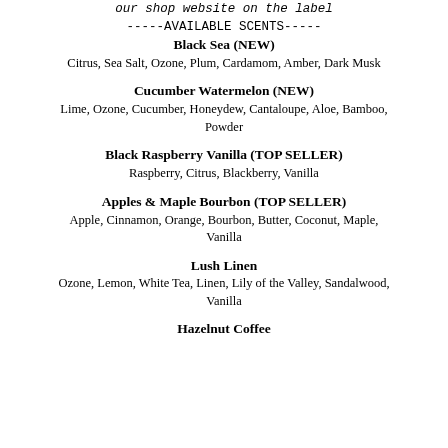our shop website on the label
-----AVAILABLE SCENTS-----
Black Sea (NEW)
Citrus, Sea Salt, Ozone, Plum, Cardamom, Amber, Dark Musk
Cucumber Watermelon (NEW)
Lime, Ozone, Cucumber, Honeydew, Cantaloupe, Aloe, Bamboo, Powder
Black Raspberry Vanilla (TOP SELLER)
Raspberry, Citrus, Blackberry, Vanilla
Apples & Maple Bourbon (TOP SELLER)
Apple, Cinnamon, Orange, Bourbon, Butter, Coconut, Maple, Vanilla
Lush Linen
Ozone, Lemon, White Tea, Linen, Lily of the Valley, Sandalwood, Vanilla
Hazelnut Coffee